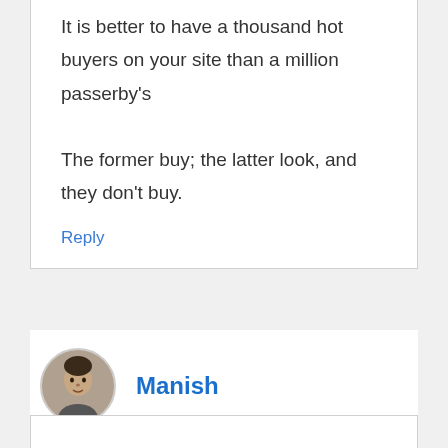It is better to have a thousand hot buyers on your site than a million passerby's
The former buy; the latter look, and they don't buy.
Reply
Manish